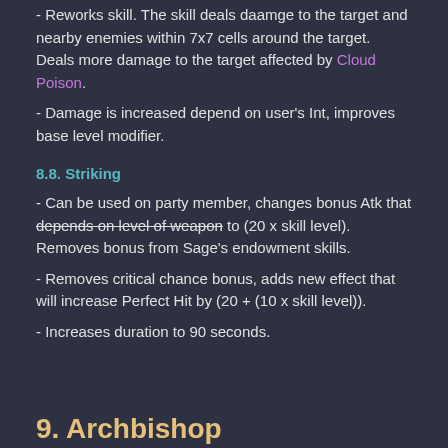- Reworks skill. The skill deals damage to the target and nearby enemies within 7x7 cells around the target. Deals more damage to the target affected by Cloud Poison.
- Damage is increased depend on user's Int, improves base level modifier.
8.8. Striking
- Can be used on party member, changes bonus Atk that depends on level of weapon to (20 x skill level). Removes bonus from Sage's endowment skills.
- Removes critical chance bonus, adds new effect that will increase Perfect Hit by (20 + (10 x skill level)).
- Increases duration to 90 seconds.
9. Archbishop
9.1. Judex
- Improves damage formula.
9.2. Adoramus